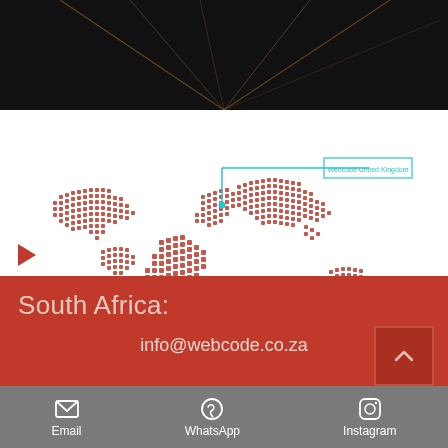[Figure (photo): Dark hero banner with 'business!' text and light beam lines on black background]
[Figure (map): Dotted world map in orange/red dots with teal connector lines pointing to 'Webcode United Kingdom' label (top right) and 'Webcode South Africa' label (bottom left)]
South Africa:
info@webcode.co.za
Email  WhatsApp  Instagram